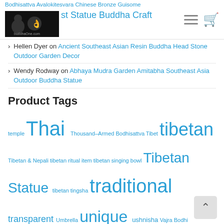Bodhisattva Avalokitesvara Chinese Bronze Guisome st Statue Buddha Craft | buddhaone.com
Hellen Dyer on Ancient Southeast Asian Resin Buddha Head Stone Outdoor Garden Decor
Wendy Rodway on Abhaya Mudra Garden Amitabha Southeast Asia Outdoor Buddha Statue
Product Tags
temple Thai Thousand-Armed Bodhisattva Tibet tibetan Tibetan & Nepali tibetan ritual item tibetan singing bowl Tibetan Statue tibetan tingsha traditional transparent Umbrella unique ushnisha Vajra Bodhi Rudraksha vajra dorje valuable Varada Vase Verde Vibrant Victory Banner vintage vintage buddha statue Vitarka Vitarka Mudra wall artwork wealth weathered welcome western Wheel of Dharma white wisdom wood Wood-like woodcarved woodcarving woodcaving wooden wooden buddha head yellow yoga zen